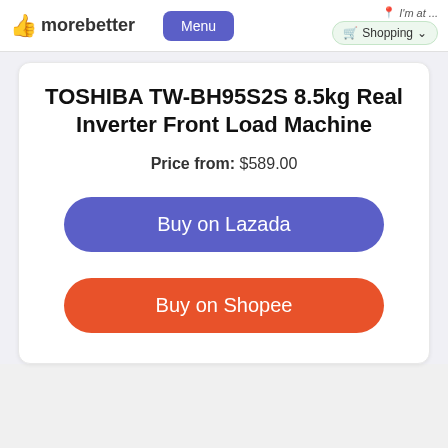👍 morebetter  Menu  I'm at ...  🛒 Shopping ∨
TOSHIBA TW-BH95S2S 8.5kg Real Inverter Front Load Machine
Price from: $589.00
Buy on Lazada
Buy on Shopee